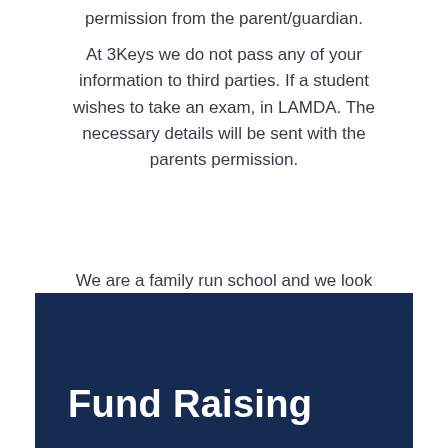permission from the parent/guardian.
At 3Keys we do not pass any of your information to third parties. If a student wishes to take an exam, in LAMDA. The necessary details will be sent with the parents permission.
We are a family run school and we look forward to meeting you and become part of our family school!
Fund Raising